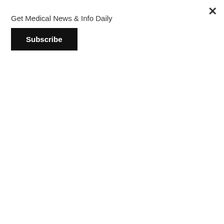Get Medical News & Info Daily
Subscribe
pain in the arms, neck, jaw, stomach, or upper back
shortness of breath or wheezing
seizures
extreme tiredness
confusion
change in vision or loss of vision
sore throat, fever, chills, and other signs of infection
swelling of the face, eyes, stomach, hands, feet, ankles, or lower legs
unexplained weight gain
foamy urine
pain, tenderness, warmth, redness, or swelling in one leg only
redness, itching, or scaling of the skin
stomach pain, constipation, nausea, vomiting, shivering, or